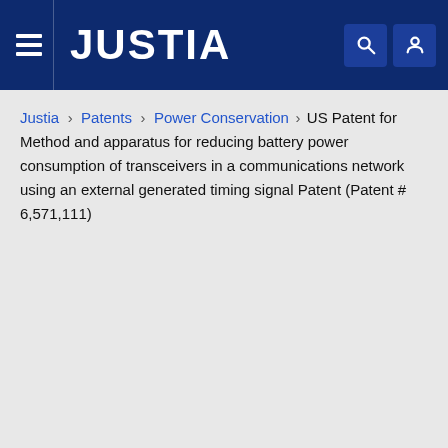JUSTIA
Justia › Patents › Power Conservation › US Patent for Method and apparatus for reducing battery power consumption of transceivers in a communications network using an external generated timing signal Patent (Patent # 6,571,111)